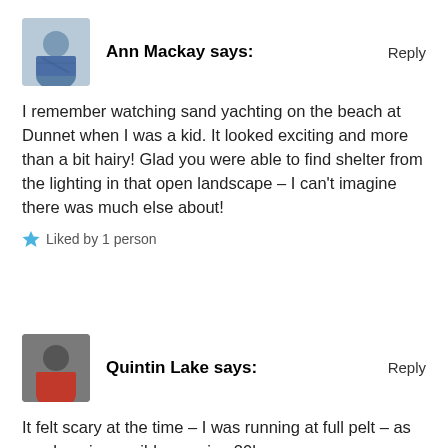[Figure (illustration): Avatar photo of Ann Mackay, a woman in a blue patterned shirt]
Ann Mackay says:
Reply
I remember watching sand yachting on the beach at Dunnet when I was a kid. It looked exciting and more than a bit hairy! Glad you were able to find shelter from the lighting in that open landscape – I can't imagine there was much else about!
Liked by 1 person
[Figure (photo): Avatar photo of Quintin Lake, a man in a red jacket]
Quintin Lake says:
Reply
It felt scary at the time – I was running at full pelt – as much as is possible carrying 20kg
Loading...
[Figure (illustration): Avatar photo of Ann Mackay, a woman in a blue patterned shirt]
Ann Mackay says: